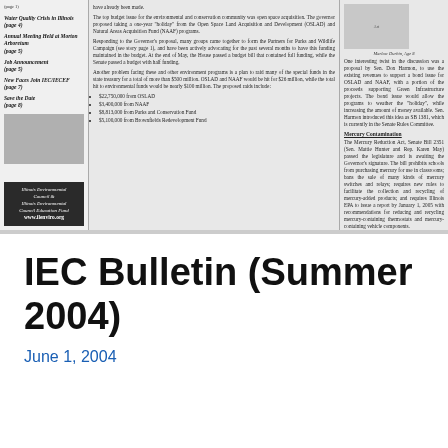[Figure (screenshot): Scanned newsletter page showing IEC Bulletin content with columns: left navigation, middle article text, right article text with illustration. Topics include Water Quality Crisis, Annual Meeting, Job Announcement, New Faces, Save the Date, budget issues, open space acquisition, Mercury Contamination.]
IEC Bulletin (Summer 2004)
June 1, 2004